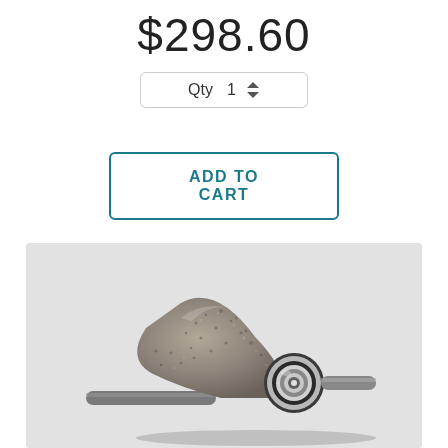$298.60
Qty 1
ADD TO CART
[Figure (photo): Close-up photo of a diamond grinding/routing bit with a textured abrasive cone head and metal bearing collar, on a light gray background]